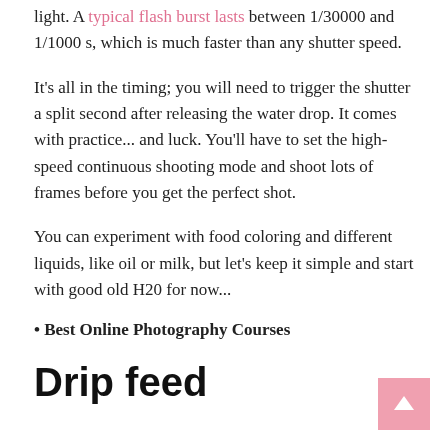light. A typical flash burst lasts between 1/30000 and 1/1000 s, which is much faster than any shutter speed.
It's all in the timing; you will need to trigger the shutter a split second after releasing the water drop. It comes with practice... and luck. You'll have to set the high-speed continuous shooting mode and shoot lots of frames before you get the perfect shot.
You can experiment with food coloring and different liquids, like oil or milk, but let's keep it simple and start with good old H20 for now...
Best Online Photography Courses
Drip feed